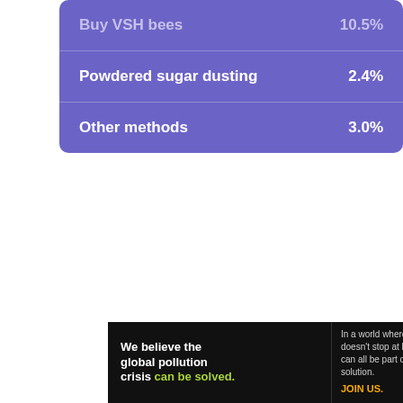| Method | Percentage |
| --- | --- |
| Buy VSH bees | 10.5% |
| Powdered sugar dusting | 2.4% |
| Other methods | 3.0% |
[Figure (screenshot): Video player area showing 'No compatible source was found for this media.' message with a close button in the top right.]
[Figure (other): Pure Earth advertisement banner. Left side on black background: 'We believe the global pollution crisis can be solved.' Middle: 'In a world where pollution doesn't stop at borders, we can all be part of the solution. JOIN US.' Right: Pure Earth logo (diamond shape) with brand name.]